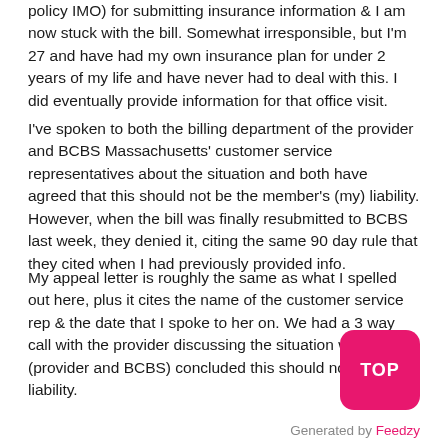policy IMO) for submitting insurance information & I am now stuck with the bill. Somewhat irresponsible, but I'm 27 and have had my own insurance plan for under 2 years of my life and have never had to deal with this. I did eventually provide information for that office visit.
I've spoken to both the billing department of the provider and BCBS Massachusetts' customer service representatives about the situation and both have agreed that this should not be the member's (my) liability. However, when the bill was finally resubmitted to BCBS last week, they denied it, citing the same 90 day rule that they cited when I had previously provided info.
My appeal letter is roughly the same as what I spelled out here, plus it cites the name of the customer service rep & the date that I spoke to her on. We had a 3 way call with the provider discussing the situation where we (provider and BCBS) concluded this should not be my liability.
Generated by Feedzy